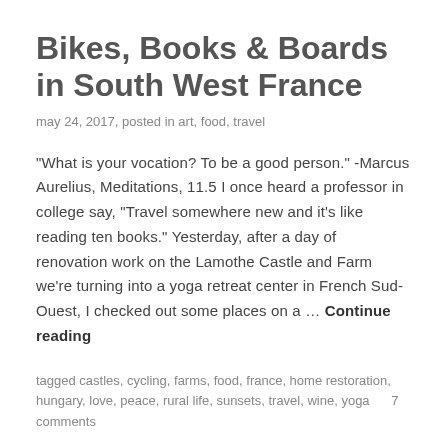Bikes, Books & Boards in South West France
may 24, 2017, posted in art, food, travel
"What is your vocation? To be a good person." -Marcus Aurelius, Meditations, 11.5 I once heard a professor in college say, "Travel somewhere new and it's like reading ten books." Yesterday, after a day of renovation work on the Lamothe Castle and Farm we're turning into a yoga retreat center in French Sud-Ouest, I checked out some places on a … Continue reading
tagged castles, cycling, farms, food, france, home restoration, hungary, love, peace, rural life, sunsets, travel, wine, yoga      7 comments